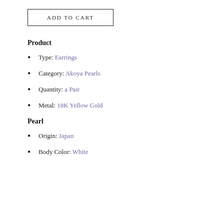ADD TO CART
Product
Type: Earrings
Category: Akoya Pearls
Quantity: a Pair
Metal: 18K Yellow Gold
Pearl
Origin: Japan
Body Color: White